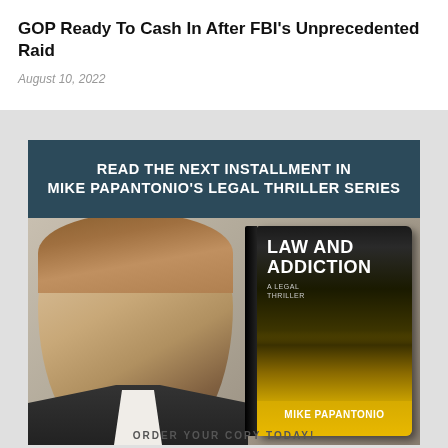GOP Ready To Cash In After FBI's Unprecedented Raid
August 10, 2022
[Figure (illustration): Advertisement for Mike Papantonio's legal thriller book 'Law and Addiction'. Features a dark teal header bar reading 'READ THE NEXT INSTALLMENT IN MIKE PAPANTONIO'S LEGAL THRILLER SERIES', a photo of Mike Papantonio (middle-aged man in suit, smiling) on the left, and the book cover on the right with a running figure silhouette against a yellow/dark background. Author name 'MIKE PAPANTONIO' at the bottom of the book cover.]